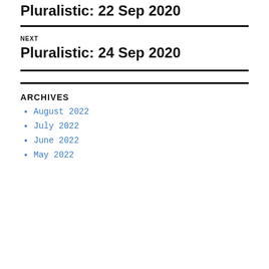Pluralistic: 22 Sep 2020
NEXT
Pluralistic: 24 Sep 2020
ARCHIVES
August 2022
July 2022
June 2022
May 2022